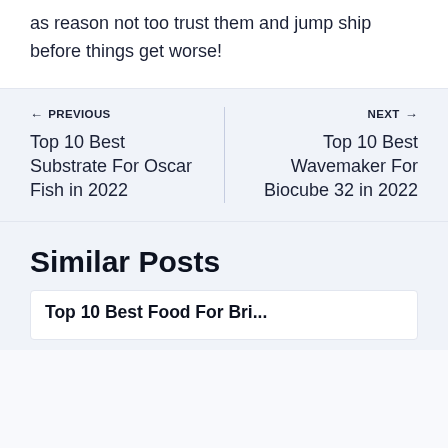as reason not too trust them and jump ship before things get worse!
← PREVIOUS
Top 10 Best Substrate For Oscar Fish in 2022
NEXT →
Top 10 Best Wavemaker For Biocube 32 in 2022
Similar Posts
Top 10 Best Food For Bri...